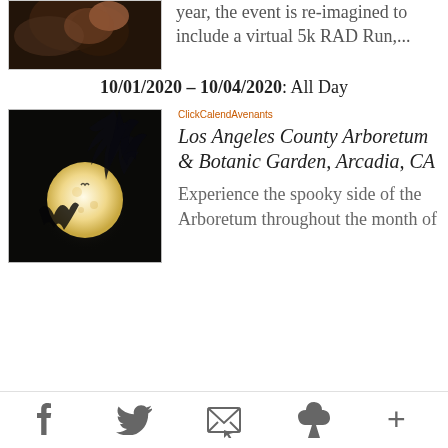[Figure (photo): Partial view of a dog and person at the top left of the page, cropped]
year, the event is re-imagined to include a virtual 5k RAD Run,...
10/01/2020 - 10/04/2020: All Day
[Figure (photo): Night sky photograph showing a large full moon against dark sky with silhouetted tree branches]
ClickCalendAvenants
Los Angeles County Arboretum & Botanic Garden, Arcadia, CA
Experience the spooky side of the Arboretum throughout the month of
f  twitter  email  pinterest  +